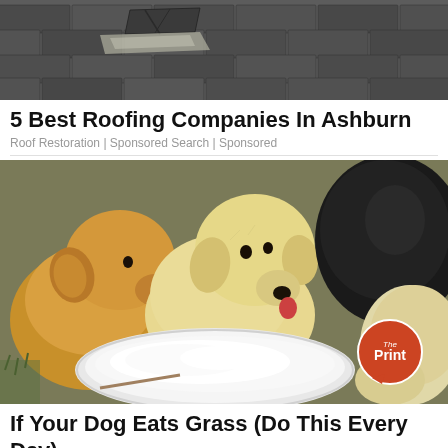[Figure (photo): Photo of damaged roofing shingles in grey tones]
5 Best Roofing Companies In Ashburn
Roof Restoration | Sponsored Search | Sponsored
[Figure (photo): Photo of three puppies eating from a white plate — two golden/cream puppies and one black puppy, with The Print logo badge in bottom-right corner]
If Your Dog Eats Grass (Do This Every Day)
NutraThrive | Sponsored